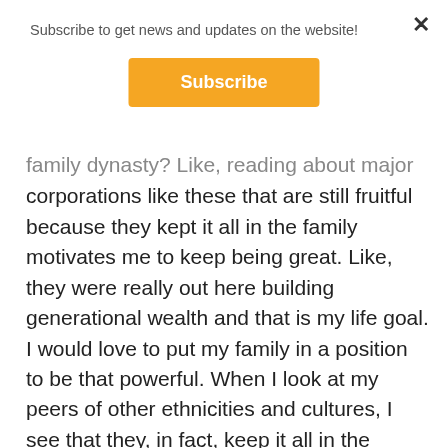Subscribe to get news and updates on the website!
Subscribe
family dynasty? Like, reading about major corporations like these that are still fruitful because they kept it all in the family motivates me to keep being great. Like, they were really out here building generational wealth and that is my life goal. I would love to put my family in a position to be that powerful. When I look at my peers of other ethnicities and cultures, I see that they, in fact, keep it all in the family. It's always family business.